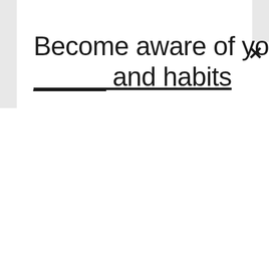Become aware of your _____ and habits